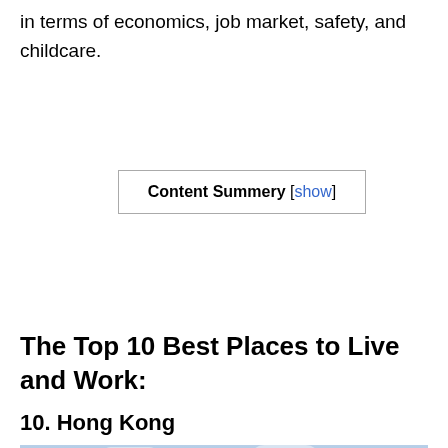in terms of economics, job market, safety, and childcare.
| Content Summery [show] |
| --- |
The Top 10 Best Places to Live and Work:
10. Hong Kong
[Figure (photo): Photo of Hong Kong skyline with a statue (Bruce Lee) in the foreground, city buildings and Victoria Harbour in the background under a partly cloudy sky.]